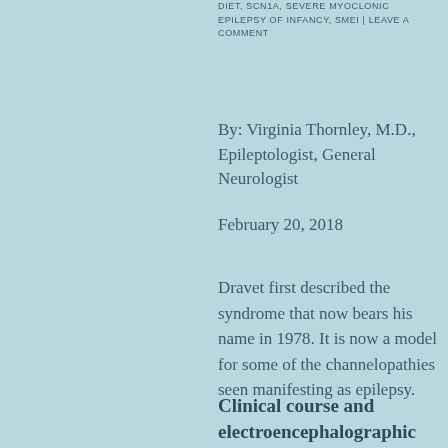DIET, SCN1A, SEVERE MYOCLONIC EPILEPSY OF INFANCY, SMEI | LEAVE A COMMENT
By: Virginia Thornley, M.D., Epileptologist, General Neurologist
February 20, 2018
Dravet first described the syndrome that now bears his name in 1978. It is now a model for some of the channelopathies seen manifesting as epilepsy.
Clinical course and electroencephalographic manifestations